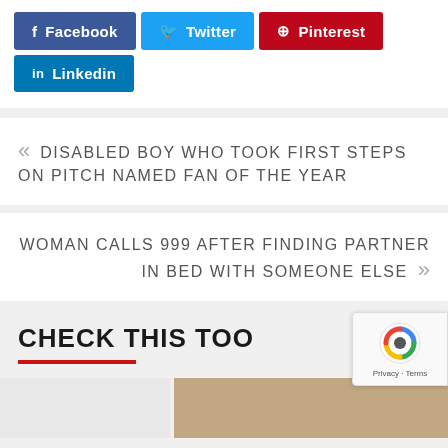[Figure (other): Social sharing buttons: Facebook (blue), Twitter (light blue), Pinterest (red), Linkedin (blue)]
« DISABLED BOY WHO TOOK FIRST STEPS ON PITCH NAMED FAN OF THE YEAR
WOMAN CALLS 999 AFTER FINDING PARTNER IN BED WITH SOMEONE ELSE »
CHECK THIS TOO
[Figure (photo): Partial image strip at the bottom of the page]